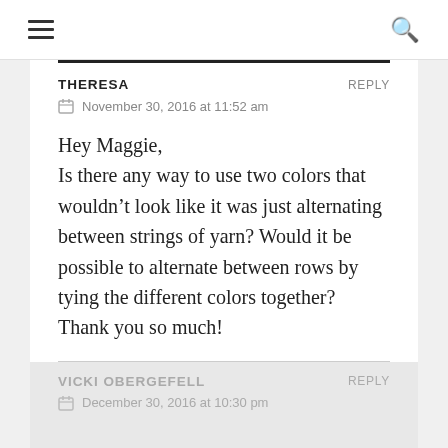☰  🔍
THERESA   REPLY
November 30, 2016 at 11:52 am
Hey Maggie,
Is there any way to use two colors that wouldn't look like it was just alternating between strings of yarn? Would it be possible to alternate between rows by tying the different colors together?
Thank you so much!
VICKI OBERGEFELL   REPLY
December 30, 2016 at 10:30 pm